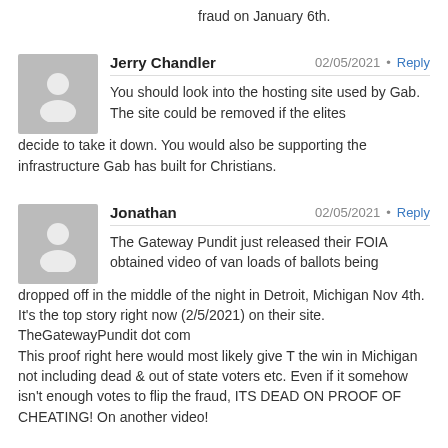fraud on January 6th.
Jerry Chandler
02/05/2021 • Reply
You should look into the hosting site used by Gab. The site could be removed if the elites decide to take it down. You would also be supporting the infrastructure Gab has built for Christians.
Jonathan
02/05/2021 • Reply
The Gateway Pundit just released their FOIA obtained video of van loads of ballots being dropped off in the middle of the night in Detroit, Michigan Nov 4th. It's the top story right now (2/5/2021) on their site. TheGatewayPundit dot com
This proof right here would most likely give T the win in Michigan not including dead & out of state voters etc. Even if it somehow isn't enough votes to flip the fraud, ITS DEAD ON PROOF OF CHEATING! On another video!